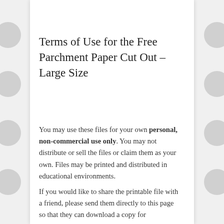Terms of Use for the Free Parchment Paper Cut Out – Large Size
You may use these files for your own personal, non-commercial use only. You may not distribute or sell the files or claim them as your own. Files may be printed and distributed in educational environments.
If you would like to share the printable file with a friend, please send them directly to this page so that they can download a copy for themselves. Please do not link directly to the